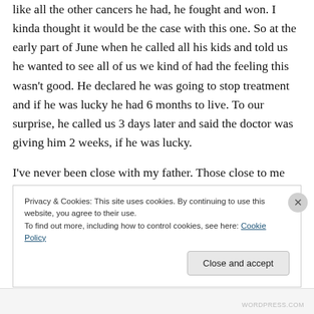like all the other cancers he had, he fought and won. I kinda thought it would be the case with this one. So at the early part of June when he called all his kids and told us he wanted to see all of us we kind of had the feeling this wasn't good. He declared he was going to stop treatment and if he was lucky he had 6 months to live. To our surprise, he called us 3 days later and said the doctor was giving him 2 weeks, if he was lucky.
I've never been close with my father. Those close to me know I've never hidden that fact. The man who raised me was my step dad and he died of bile duct cancer nearly 15
Privacy & Cookies: This site uses cookies. By continuing to use this website, you agree to their use.
To find out more, including how to control cookies, see here: Cookie Policy